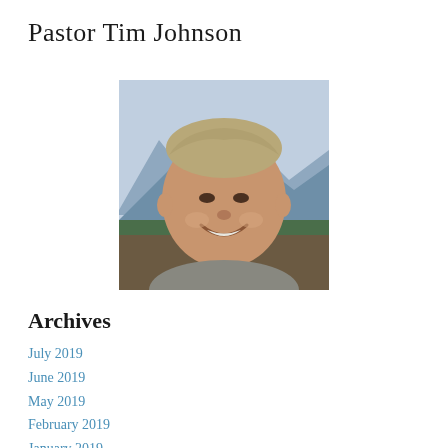Pastor Tim Johnson
[Figure (photo): Portrait photo of a middle-aged man with gray-blond hair, smiling, wearing a gray t-shirt, with a mountain and forest landscape background.]
Archives
July 2019
June 2019
May 2019
February 2019
January 2019